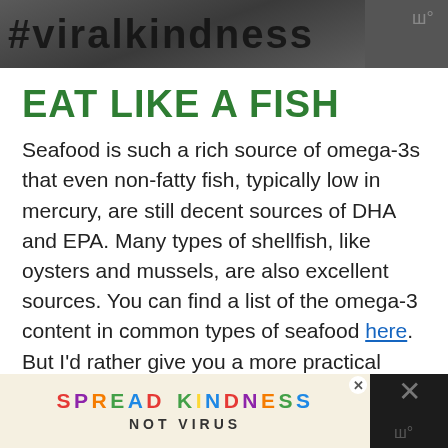[Figure (photo): Cropped banner image with dark textured background and partial hashtag text '#viralkindness' or similar, with watermark icon in top right corner]
EAT LIKE A FISH
Seafood is such a rich source of omega-3s that even non-fatty fish, typically low in mercury, are still decent sources of DHA and EPA. Many types of shellfish, like oysters and mussels, are also excellent sources. You can find a list of the omega-3 content in common types of seafood here. But I'd rather give you a more practical piece of
[Figure (infographic): Advertisement banner reading SPREAD KINDNESS NOT VIRUS in colorful letters on a beige/cream background, with a dark right panel containing an X close button and watermark icon]